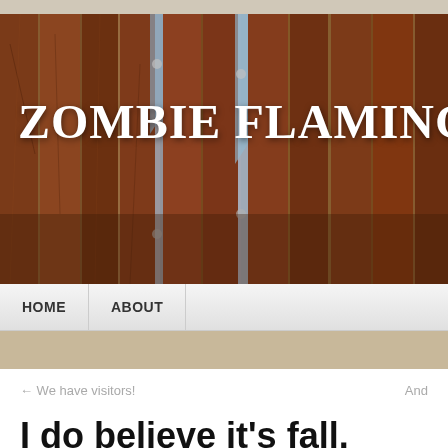[Figure (photo): Blog header image showing wooden fence/planks with warm brown tones, with 'Zombie Flamingos' blog title overlaid in white text, and partial subtitle 'A jou...' visible at top right]
HOME   ABOUT
← We have visitors!
And
I do believe it's fall.
SEP 18   Posted by eschudel